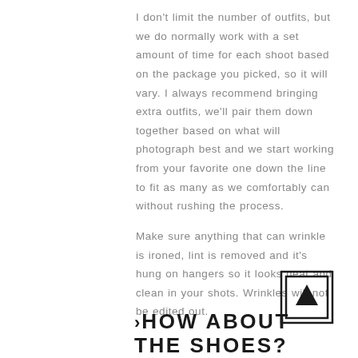I don't limit the number of outfits, but we do normally work with a set amount of time for each shoot based on the package you picked, so it will vary. I always recommend bringing extra outfits, we'll pair them down together based on what will photograph best and we start working from your favorite one down the line to fit as many as we comfortably can without rushing the process.

Make sure anything that can wrinkle is ironed, lint is removed and it's hung on hangers so it looks neat and clean in your shots. Wrinkles will not be edited out.
[Figure (other): Small icon of a box with an upward arrow inside, representing an upload or packaging symbol]
>HOW ABOUT THE SHOES?